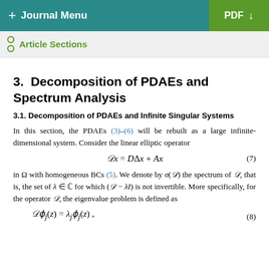+ Journal Menu | PDF ↓
Article Sections
3.  Decomposition of PDAEs and Spectrum Analysis
3.1. Decomposition of PDAEs and Infinite Singular Systems
In this section, the PDAEs (3)–(6) will be rebuilt as a large infinite-dimensional system. Consider the linear elliptic operator
in Ω with homogeneous BCs (5). We denote by σ(𝒟) the spectrum of 𝒟, that is, the set of λ ∈ ℂ for which (𝒟 − λI) is not invertible. More specifically, for the operator 𝒟, the eigenvalue problem is defined as